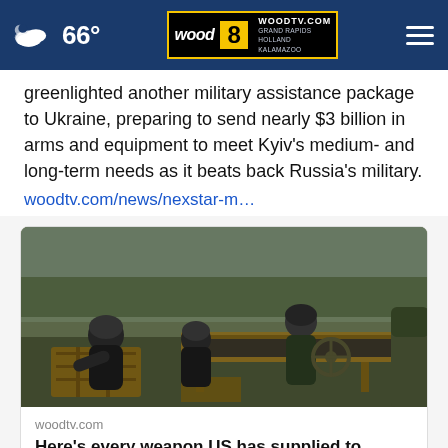66° | WOODTV.COM GRAND RAPIDS HOLLAND KALAMAZOO
greenlighted another military assistance package to Ukraine, preparing to send nearly $3 billion in arms and equipment to meet Kyiv's medium- and long-term needs as it beats back Russia's military. woodtv.com/news/nexstar-m…
[Figure (photo): Military personnel in helmets and tactical gear loading ammunition or equipment from a wooden crate outdoors, with trees and a cannon-like weapon visible in the background.]
woodtv.com
Here's every weapon US has supplied to Ukraine with $13 billion